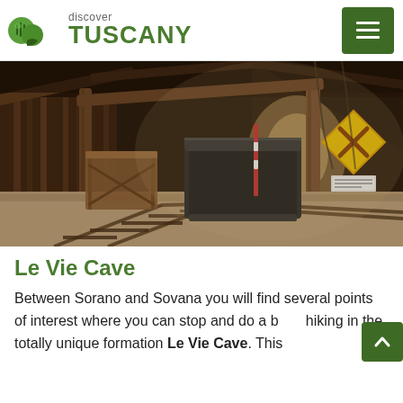discover TUSCANY
[Figure (photo): Interior of a historic mine tunnel with wooden beam supports, mine cart on tracks, and a yellow hazard sign visible in the background. Sandy floor with rail tracks leading into the tunnel.]
Le Vie Cave
Between Sorano and Sovana you will find several points of interest where you can stop and do a bit of hiking in the totally unique formation Le Vie Cave. This